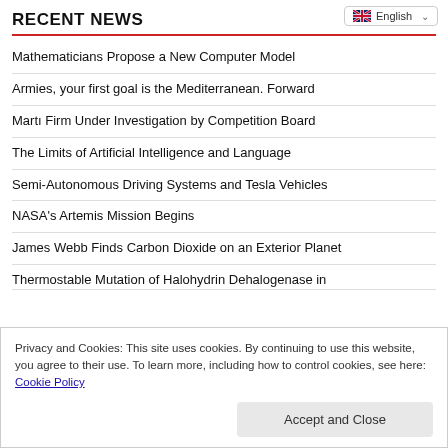English (language selector)
RECENT NEWS
Mathematicians Propose a New Computer Model
Armies, your first goal is the Mediterranean. Forward
Martı Firm Under Investigation by Competition Board
The Limits of Artificial Intelligence and Language
Semi-Autonomous Driving Systems and Tesla Vehicles
NASA's Artemis Mission Begins
James Webb Finds Carbon Dioxide on an Exterior Planet
Thermostable Mutation of Halohydrin Dehalogenase in
Privacy and Cookies: This site uses cookies. By continuing to use this website, you agree to their use. To learn more, including how to control cookies, see here: Cookie Policy
Accept and Close
How Do We Know That Time Exists?